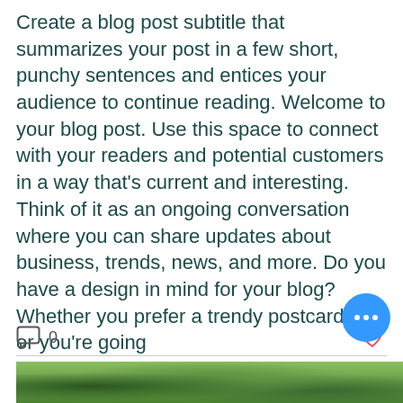Create a blog post subtitle that summarizes your post in a few short, punchy sentences and entices your audience to continue reading. Welcome to your blog post. Use this space to connect with your readers and potential customers in a way that's current and interesting. Think of it as an ongoing conversation where you can share updates about business, trends, news, and more. Do you have a design in mind for your blog? Whether you prefer a trendy postcard look or you're going
[Figure (screenshot): Comment icon with count 0 on the left, heart/like icon on the right — social interaction bar for a blog post]
[Figure (photo): Partial photo strip at the bottom of the page showing green foliage/trees]